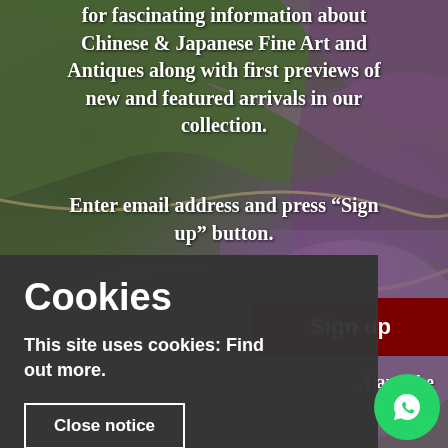[Figure (photo): Aerial photograph background showing fields/terrain in green and purple/mauve tones with curved paths]
for fascinating information about Chinese & Japanese Fine Art and Antiques along with first previews of new and featured arrivals in our collection.
Enter email address and press "Sign up" button.
Sign up
Cookies
This site uses cookies: Find out more.
Close notice
A and the
f Servi